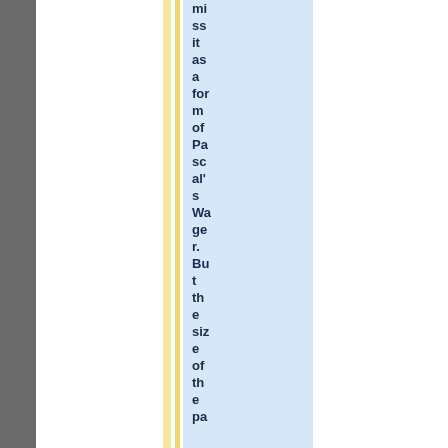miss it as a form of Pascal's Wager. But the size of the pa